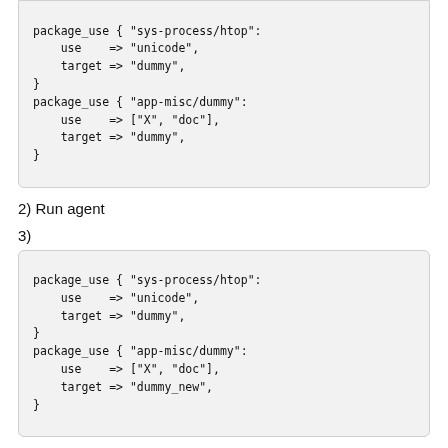package_use { "sys-process/htop":
    use    => "unicode",
    target => "dummy",
}
package_use { "app-misc/dummy":
    use    => ["X", "doc"],
    target => "dummy",
}
2) Run agent
3)
package_use { "sys-process/htop":
    use    => "unicode",
    target => "dummy",
}
package_use { "app-misc/dummy":
    use    => ["X", "doc"],
    target => "dummy_new",
}
4) Run agent
Results: